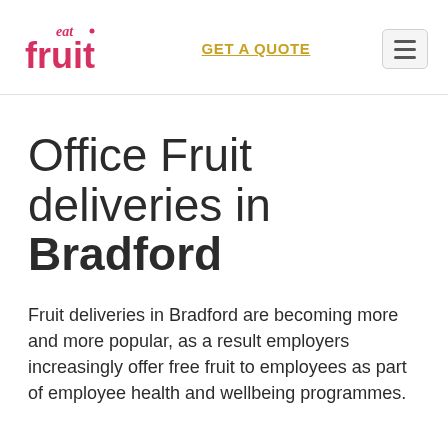eat fruit | GET A QUOTE | [menu]
Office Fruit deliveries in Bradford
Fruit deliveries in Bradford are becoming more and more popular, as a result employers increasingly offer free fruit to employees as part of employee health and wellbeing programmes.